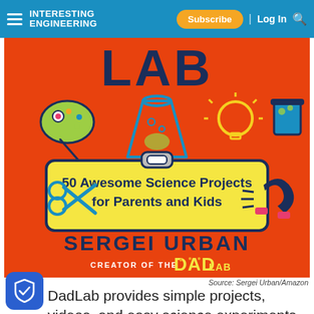INTERESTING ENGINEERING | Subscribe | Log In
[Figure (illustration): Book cover for 'The Dad Lab' by Sergei Urban — '50 Awesome Science Projects for Parents and Kids', Creator of The Dad Lab. Orange background with science icons (paint palette, flask, lightbulb, beaker, scissors, magnet). Yellow banner with book subtitle. Author name in large dark text.]
Source: Sergei Urban/Amazon
DadLab provides simple projects, videos, and easy science experiments that parents can enjoy doing with